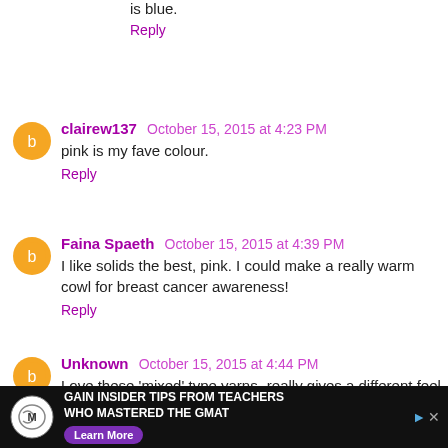is blue.
Reply
clairew137  October 15, 2015 at 4:23 PM
pink is my fave colour.
Reply
Faina Spaeth  October 15, 2015 at 4:39 PM
I like solids the best, pink. I could make a really warm cowl for breast cancer awareness!
Reply
Unknown  October 15, 2015 at 4:44 PM
Love these 'mixed' type yarns- really gives a different feel to projects! Thanks for the giveaway!
[Figure (screenshot): Manhattan Prep advertisement banner: GAIN INSIDER TIPS FROM TEACHERS WHO MASTERED THE GMAT. Learn More button.]